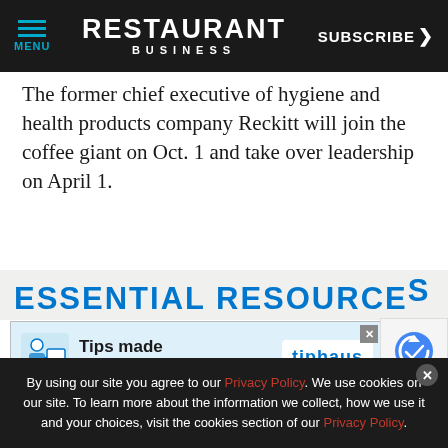MENU | RESTAURANT BUSINESS | SUBSCRIBE
The former chief executive of hygiene and health products company Reckitt will join the coffee giant on Oct. 1 and take over leadership on April 1.
[Figure (infographic): ESSENTIAL RESOURCES promotional band in blue bold text on light background]
[Figure (infographic): Tiphaus advertisement banner: 'Tips made SO EASY' with tiphaus logo and close button]
[Figure (infographic): Google reCAPTCHA badge with logo and Privacy - Terms text]
By using our site you agree to our Privacy Policy. We use cookies on our site. To learn more about the information we collect, how we use it and your choices, visit the cookies section of our Privacy Policy.